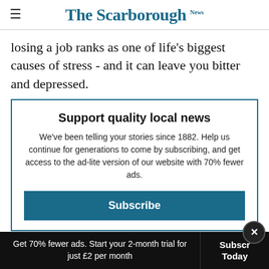The Scarborough News
losing a job ranks as one of life's biggest causes of stress - and it can leave you bitter and depressed.
Support quality local news
We've been telling your stories since 1882. Help us continue for generations to come by subscribing, and get access to the ad-lite version of our website with 70% fewer ads.
Subscribe
Get 70% fewer ads. Start your 2-month trial for just £2 per month   Subscribe Today